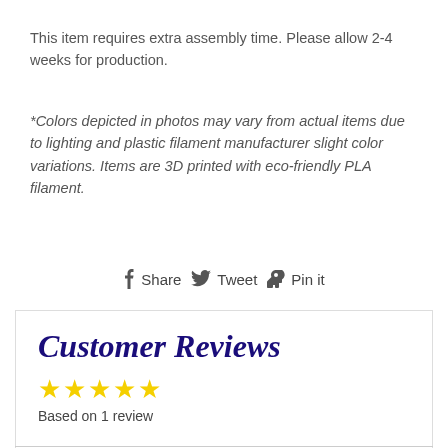This item requires extra assembly time. Please allow 2-4 weeks for production.
*Colors depicted in photos may vary from actual items due to lighting and plastic filament manufacturer slight color variations. Items are 3D printed with eco-friendly PLA filament.
Share  Tweet  Pin it
Customer Reviews
Based on 1 review